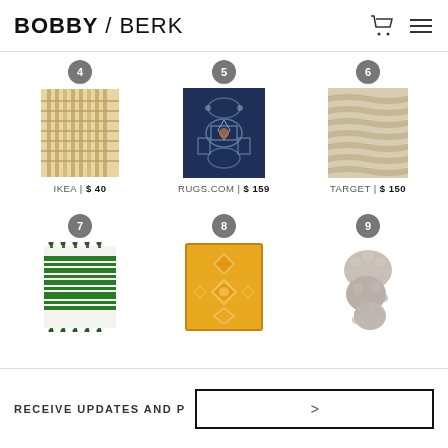BOBBY / BERK
[Figure (photo): Item 4: Light natural wood/woven rug - IKEA $40]
[Figure (photo): Item 5: Dark blue ornate patterned rug - RUGS.COM $159]
[Figure (photo): Item 6: Beige zebra/wave print rug - TARGET $150]
[Figure (photo): Item 7: Green and white striped rug with tassels]
[Figure (photo): Item 8: Yellow/gold geometric patterned rug]
[Figure (photo): Item 9: Gray fluffy/sheepskin rug]
RECEIVE UPDATES AND P
>